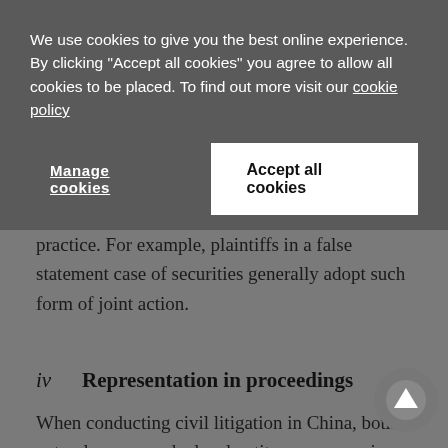We use cookies to give you the best online experience. By clicking "Accept all cookies" you agree to allow all cookies to be placed. To find out more visit our cookie policy
Manage cookies | Accept all cookies
practice. For example, plaintiffs in a false statement case of securities generally adopt such form of joint action.
iv    Representation in proceedings
When conducting civil litigation in China, both a natural person and a legal entity can appear in court on his, her or its own behalf and participate in all litigation activities, unless he, she or it appoints a representative to attend